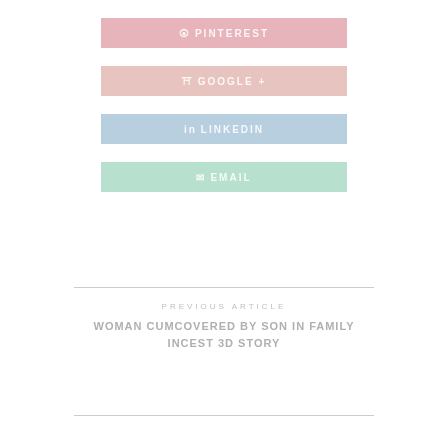[Figure (infographic): Pinterest share button (pink background)]
[Figure (infographic): Google+ share button (light pink/salmon background)]
[Figure (infographic): LinkedIn share button (light blue background)]
[Figure (infographic): Email share button (light mint green background)]
PREVIOUS ARTICLE
WOMAN CUMCOVERED BY SON IN FAMILY INCEST 3D STORY